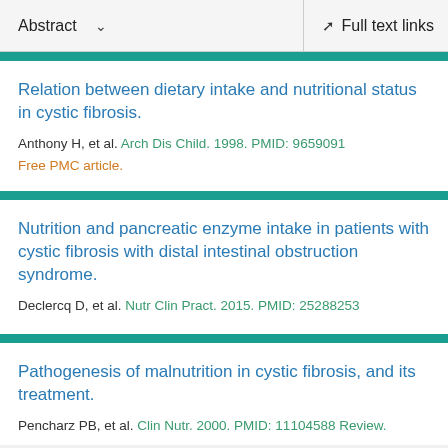Abstract  ∨    Full text links
Relation between dietary intake and nutritional status in cystic fibrosis.
Anthony H, et al. Arch Dis Child. 1998. PMID: 9659091
Free PMC article.
Nutrition and pancreatic enzyme intake in patients with cystic fibrosis with distal intestinal obstruction syndrome.
Declercq D, et al. Nutr Clin Pract. 2015. PMID: 25288253
Pathogenesis of malnutrition in cystic fibrosis, and its treatment.
Pencharz PB, et al. Clin Nutr. 2000. PMID: 11104588 Review.